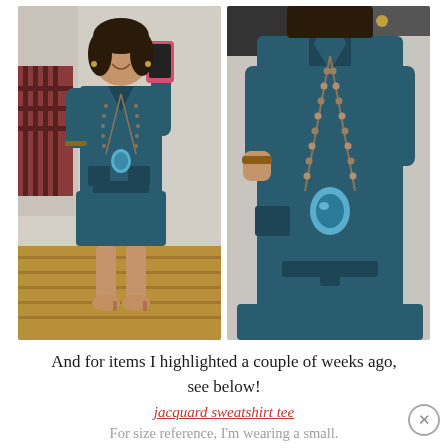[Figure (photo): Two side-by-side photos of a woman wearing a teal/navy shirt dress with a long beaded necklace and a blue stone pendant. Left photo is a mirror selfie showing her full body with a pink phone case; right photo is a closer view showing the torso and dress detail.]
And for items I highlighted a couple of weeks ago, see below!
jacquard sweatshirt tee
For size reference, I'm wearing a small. The material is stretchy and very comfy!